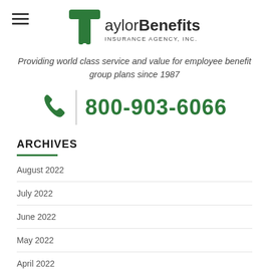[Figure (logo): Taylor Benefits Insurance Agency, Inc. logo with green T icon and company name]
Providing world class service and value for employee benefit group plans since 1987
800-903-6066
ARCHIVES
August 2022
July 2022
June 2022
May 2022
April 2022